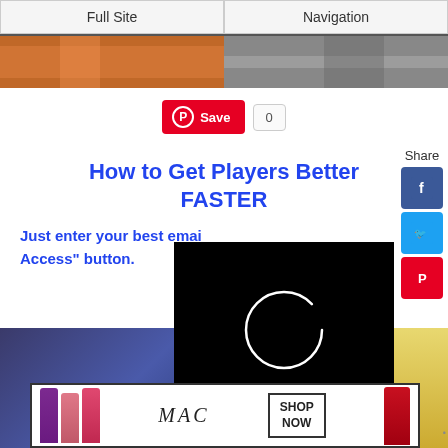Full Site | Navigation
[Figure (photo): Two cropped photos side by side at the top of the page]
Save  0
How to Get Players Better FASTER
Just enter your best email Access" button.
[Figure (screenshot): Black video loading screen with circular spinner]
[Figure (photo): Bottom section photos showing sports/activity content and a CLOSE button]
[Figure (screenshot): MAC cosmetics advertisement with lipsticks and SHOP NOW button]